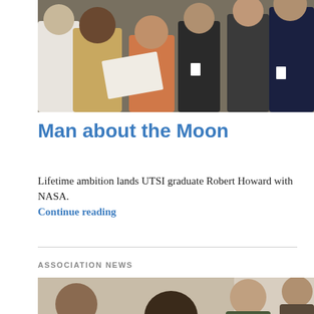[Figure (photo): Group of people in a facility; a man in a tan shirt hands papers to a man in an orange shirt, surrounded by others in suits and professional attire.]
Man about the Moon
Lifetime ambition lands UTSI graduate Robert Howard with NASA.
Continue reading
ASSOCIATION NEWS
[Figure (photo): Group of people seated at a meeting or event, photographed from above and behind.]